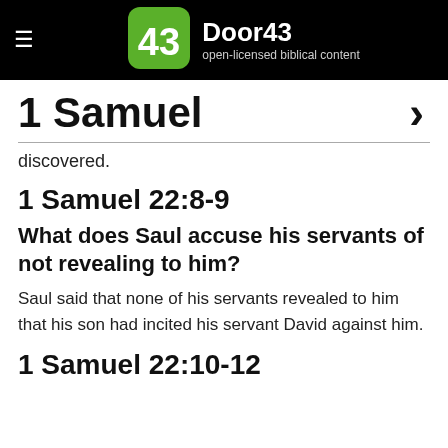Door43 — open-licensed biblical content
1 Samuel
discovered.
1 Samuel 22:8-9
What does Saul accuse his servants of not revealing to him?
Saul said that none of his servants revealed to him that his son had incited his servant David against him.
1 Samuel 22:10-12